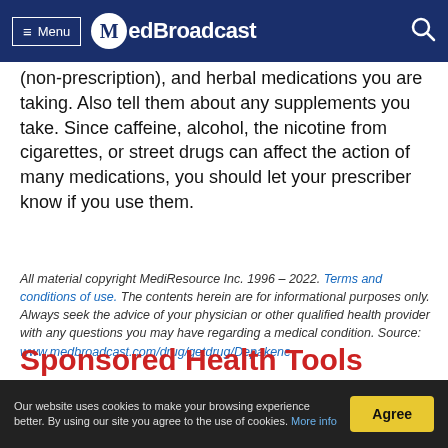Menu | MedBroadcast
(non-prescription), and herbal medications you are taking. Also tell them about any supplements you take. Since caffeine, alcohol, the nicotine from cigarettes, or street drugs can affect the action of many medications, you should let your prescriber know if you use them.
All material copyright MediResource Inc. 1996 – 2022. Terms and conditions of use. The contents herein are for informational purposes only. Always seek the advice of your physician or other qualified health provider with any questions you may have regarding a medical condition. Source: www.medbroadcast.com/drug/getdrug/Depakene
Sponsored Health Tools
[Figure (photo): Partial view of a person, appears to be a woman with light hair, with a plant in the background — cropped health-related lifestyle image]
Our website uses cookies to make your browsing experience better. By using our site you agree to the use of cookies. More info | Agree